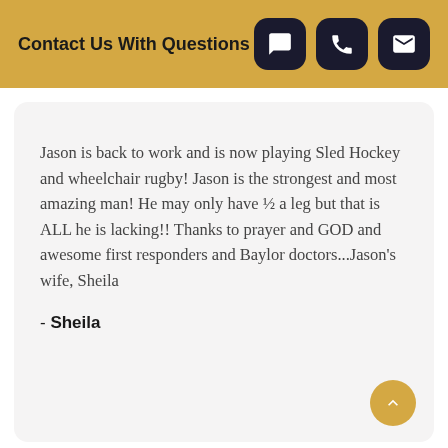Contact Us With Questions
Jason is back to work and is now playing Sled Hockey and wheelchair rugby! Jason is the strongest and most amazing man! He may only have ½ a leg but that is ALL he is lacking!! Thanks to prayer and GOD and awesome first responders and Baylor doctors...Jason's wife, Sheila
- Sheila